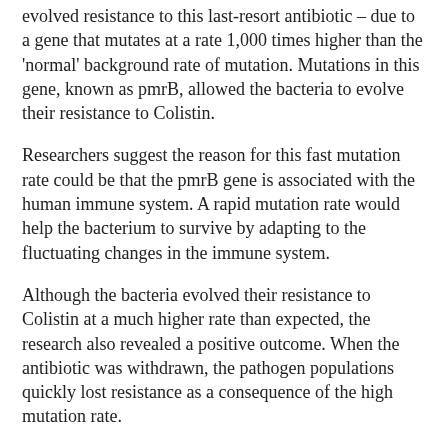evolved resistance to this last-resort antibiotic – due to a gene that mutates at a rate 1,000 times higher than the 'normal' background rate of mutation. Mutations in this gene, known as pmrB, allowed the bacteria to evolve their resistance to Colistin.
Researchers suggest the reason for this fast mutation rate could be that the pmrB gene is associated with the human immune system. A rapid mutation rate would help the bacterium to survive by adapting to the fluctuating changes in the immune system.
Although the bacteria evolved their resistance to Colistin at a much higher rate than expected, the research also revealed a positive outcome. When the antibiotic was withdrawn, the pathogen populations quickly lost resistance as a consequence of the high mutation rate.
The researchers now plan to extend their study to investigate what other attributes of Pseudomonas might be involved in enabling such high levels of antimicrobial resistance.
Source/Credit: University of Oxford